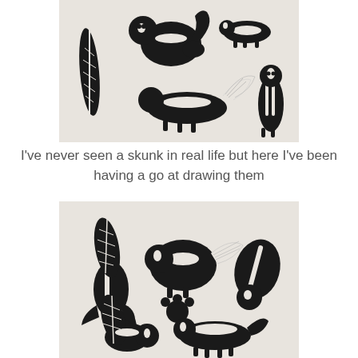[Figure (illustration): Black and white hand-drawn skunk illustrations on light background. Shows multiple skunks in different poses, a feather, and various skunk designs rendered in a bold graphic style.]
I've never seen a skunk in real life but here I've been having a go at drawing them
[Figure (illustration): Second set of black and white hand-drawn skunk illustrations. Shows multiple skunks in various poses including a paw print, skunks with feathery tails, and bold stylized skunk figures.]